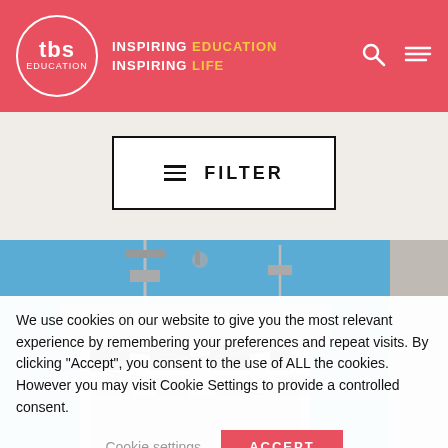TBS Education — INSPIRING EDUCATION INSPIRING LIFE
FILTER
[Figure (photo): Top of a modern building with telecommunications antenna towers against a blue sky]
We use cookies on our website to give you the most relevant experience by remembering your preferences and repeat visits. By clicking "Accept", you consent to the use of ALL the cookies. However you may visit Cookie Settings to provide a controlled consent.
Cookie settings   ACCEPT